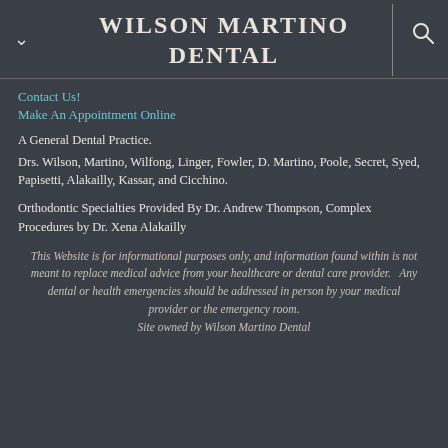WILSON MARTINO DENTAL
Contact Us!
Make An Appointment Online
A General Dental Practice.
Drs. Wilson, Martino, Wilfong, Linger, Fowler, D. Martino, Poole, Secret, Syed, Papisetti, Alakailly, Kassar, and Cicchino.
Orthodontic Specialties Provided By Dr. Andrew Thompson, Complex Procedures by Dr. Xena Alakailly
This Website is for informational purposes only, and information found within is not meant to replace medical advice from your healthcare or dental care provider.   Any dental or health emergencies should be addressed in person by your medical provider or the emergency room.  Site owned by Wilson Martino Dental